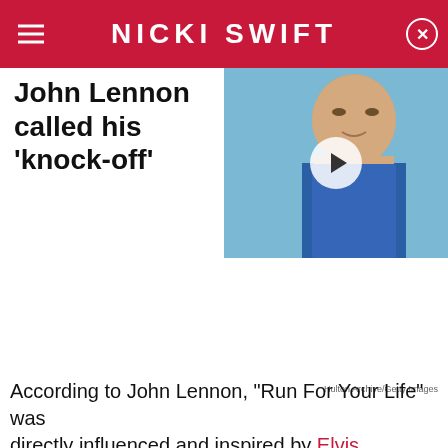NICKI SWIFT
John Lennon called his 'knock-off'
[Figure (photo): Video thumbnail showing a young man in a blue shirt with a play button overlay]
Hulton Archive/Getty Images
According to John Lennon, "Run For Your Life" was directly influenced and inspired by Elvis Presley's 1955